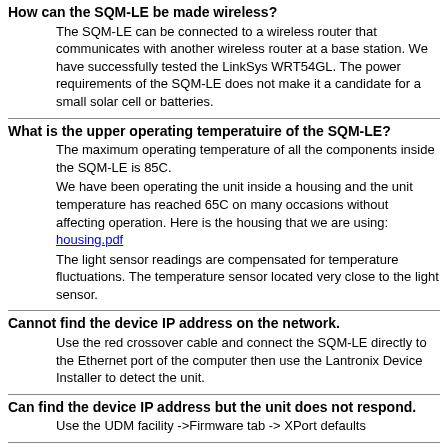How can the SQM-LE be made wireless?
The SQM-LE can be connected to a wireless router that communicates with another wireless router at a base station. We have successfully tested the LinkSys WRT54GL. The power requirements of the SQM-LE does not make it a candidate for a small solar cell or batteries.
What is the upper operating temperatuire of the SQM-LE?
The maximum operating temperature of all the components inside the SQM-LE is 85C. We have been operating the unit inside a housing and the unit temperature has reached 65C on many occasions without affecting operation. Here is the housing that we are using: housing.pdf The light sensor readings are compensated for temperature fluctuations. The temperature sensor located very close to the light sensor.
Cannot find the device IP address on the network.
Use the red crossover cable and connect the SQM-LE directly to the Ethernet port of the computer then use the Lantronix Device Installer to detect the unit.
Can find the device IP address but the unit does not respond.
Use the UDM facility ->Firmware tab -> XPort defaults
General SQM Questions